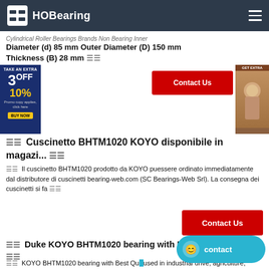HOBearing
Cylindrical Roller Bearings Brands Non Bearing Inner Diameter (d) 85 mm Outer Diameter (D) 150 mm Thickness (B) 28 mm
Cuscinetto BHTM1020 KOYO disponibile in magazi...
Il cuscinetto BHTM1020 prodotto da KOYO può essere ordinato immediatamente dal distributore di cuscinetti bearing-web.com (SC Bearings-Web Srl). La consegna dei cuscinetti si fa
Duke KOYO BHTM1020 bearing with Best Quality beari...
KOYO BHTM1020 bearing with Best Quality used in industrial drive, agriculture, compressors, motors